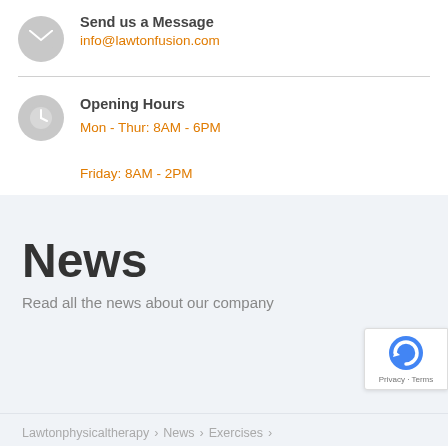Send us a Message
info@lawtonfusion.com
Opening Hours
Mon - Thur: 8AM - 6PM
Friday: 8AM - 2PM
News
Read all the news about our company
Lawtonphysicaltherapy > News > Exercises >
What to Expect from Reliable Trigger Point Dry Needling